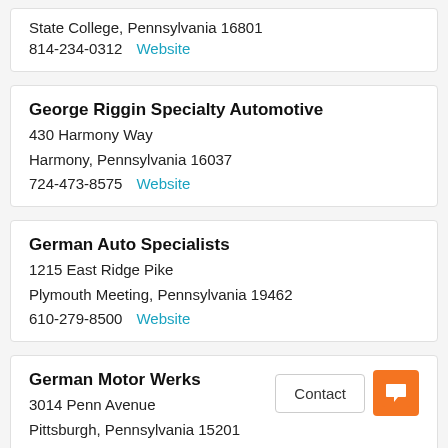State College, Pennsylvania 16801
814-234-0312   Website
George Riggin Specialty Automotive
430 Harmony Way
Harmony, Pennsylvania 16037
724-473-8575   Website
German Auto Specialists
1215 East Ridge Pike
Plymouth Meeting, Pennsylvania 19462
610-279-8500   Website
German Motor Werks
3014 Penn Avenue
Pittsburgh, Pennsylvania 15201